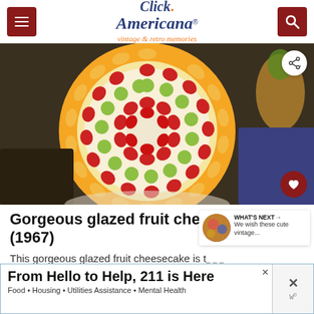Click Americana – vintage & retro memories
[Figure (photo): Colorful glazed fruit cheesecake with strawberries, green grapes, and mango slices arranged in decorative concentric rings on top]
Gorgeous glazed fruit cheesecake (1967)
This gorgeous glazed fruit cheesecake is topped with shiny sweet fruit, arranged in a pretty
WHAT'S NEXT → We wish these cute vintage...
From Hello to Help, 211 is Here
Food • Housing • Utilities Assistance • Mental Health